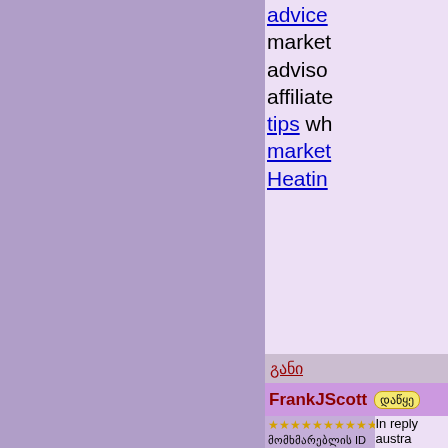advice market advisor affiliate tips wh market Heatin
განი
FrankJScott
დაწყე
★★★★★★★★★★ მომხმარებლის ID #13983 რეგისტრირებულია: სამშაბათო, 21 სექტემბერი 2021 წ. 22:29 შეტყობინებები: 323
In reply austra bookke be a s highly require service south a owners llc own how m